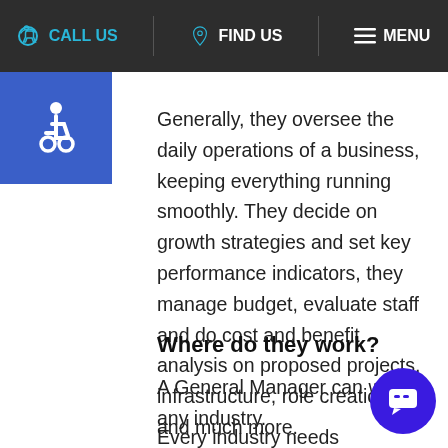CALL US   FIND US   MENU
[Figure (logo): Accessibility icon (wheelchair symbol) in blue square]
Generally, they oversee the daily operations of a business, keeping everything running smoothly. They decide on growth strategies and set key performance indicators, they manage budget, evaluate staff and do cost and benefit analysis on proposed projects, infrastructure, role creations and much more.
Where do they work?
A General Manager can work in any industry.
Every industry needs people to oversee